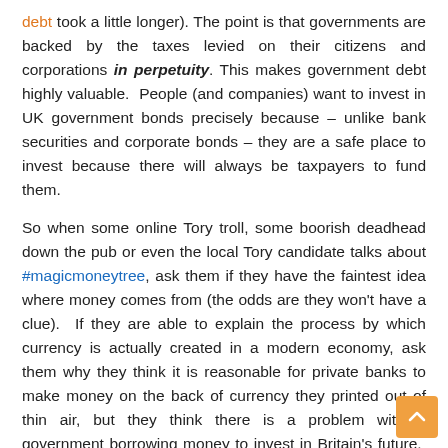debt took a little longer). The point is that governments are backed by the taxes levied on their citizens and corporations in perpetuity. This makes government debt highly valuable. People (and companies) want to invest in UK government bonds precisely because – unlike bank securities and corporate bonds – they are a safe place to invest because there will always be taxpayers to fund them.
So when some online Tory troll, some boorish deadhead down the pub or even the local Tory candidate talks about #magicmoneytree, ask them if they have the faintest idea where money comes from (the odds are they won't have a clue). If they are able to explain the process by which currency is actually created in a modern economy, ask them why they think it is reasonable for private banks to make money on the back of currency they printed out of thin air, but they think there is a problem with a government borrowing money to invest in Britain's future. The odds are that they won't have an answer for the same reason that nobody within the Tory government does – they are totally clueless on how the economy actually operates.